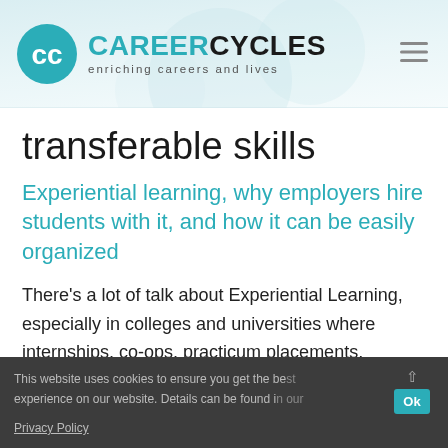CAREERCYCLES enriching careers and lives
transferable skills
Experiential learning, why employers hire students with it, and how it can be easily organized
There’s a lot of talk about Experiential Learning, especially in colleges and universities where internships, co-ops, practicum placements, project-based learning, and other real life
This website uses cookies to ensure you get the best experience on our website. Details can be found in our Privacy Policy